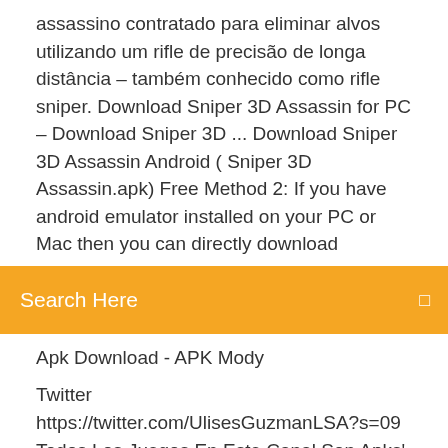assassino contratado para eliminar alvos utilizando um rifle de precisão de longa distância – também conhecido como rifle sniper. Download Sniper 3D Assassin for PC – Download Sniper 3D ... Download Sniper 3D Assassin Android ( Sniper 3D Assassin.apk) Free Method 2: If you have android emulator installed on your PC or Mac then you can directly download
[Figure (screenshot): Orange search bar with 'Search Here' text in white and a small icon on the right]
Apk Download - APK Mody
Twitter https://twitter.com/UlisesGuzmanLSA?s=09 Todos Los Juegos En Este Canal Son Apks' Modificados. Solamente Tienes Que Instalar El Apk Sin Necesidad De Ser Root. Recuerda. Descarga & Instala. [ Video Sugerido] [ Segundo Canal ] https… tyfnqlç��é¨è½æ ¼ :: ç��åçé�| Pixnet :: - PDF Free Download blackberry 8520 Outlook.wfubmc.edu Regal kitchen pro 6743 manual Interview invitation acance letter Login paperleap... Asphalt 8 Airborne Mod Apk 4.9.1a / black 4.9.1a